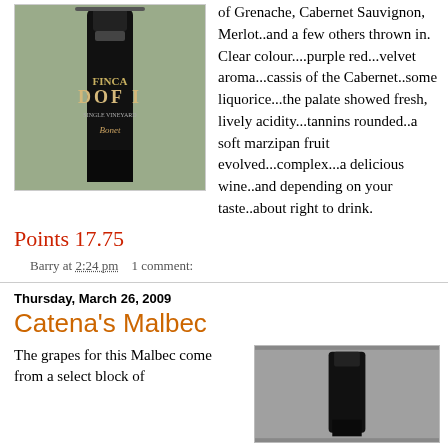[Figure (photo): Wine bottle photo - Finca Doffi label]
of Grenache, Cabernet Sauvignon, Merlot..and a few others thrown in. Clear colour....purple red...velvet aroma...cassis of the Cabernet..some liquorice...the palate showed fresh, lively acidity...tannins rounded..a soft marzipan fruit evolved...complex...a delicious wine..and depending on your taste..about right to drink.
Points 17.75
Barry at 2:24 pm    1 comment:
Thursday, March 26, 2009
Catena's Malbec
The grapes for this Malbec come from a select block of
[Figure (photo): Wine bottle photo for Catena Malbec]